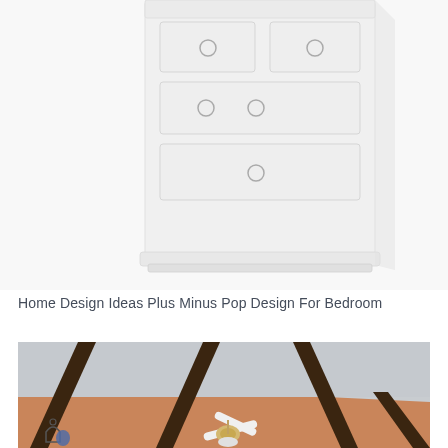[Figure (photo): Partial view of a white wooden dresser/chest of drawers with round knob handles on a white background, showing the upper portion cropped at the top of the frame.]
Home Design Ideas Plus Minus Pop Design For Bedroom
[Figure (photo): Interior photo of a room ceiling showing a plus-minus pop ceiling design with brown/dark wooden beams/strips against a light gray and terracotta/salmon colored painted ceiling. A white ceiling fan is visible in the lower center of the image.]